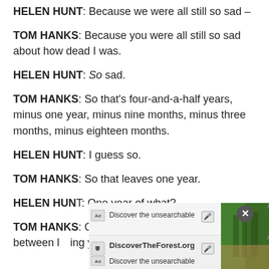HELEN HUNT: Because we were all still so sad –
TOM HANKS: Because you were all still so sad about how dead I was.
HELEN HUNT: So sad.
TOM HANKS: So that's four-and-a-half years, minus one year, minus nine months, minus three months, minus eighteen months.
HELEN HUNT: I guess so.
TOM HANKS: So that leaves one year.
HELEN HUNT: One year of what?
TOM HANKS: One year almost to the day between losing your fia
[Figure (screenshot): Advertisement overlay showing 'Discover the unsearchable' and 'DiscoverTheForest.org' with forest image and close button]